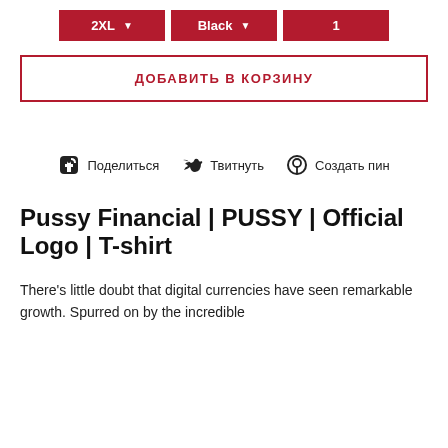[Figure (other): Three selector buttons: 2XL (with dropdown arrow), Black (with dropdown arrow), and 1 — all in dark red/crimson background with white text]
ДОБАВИТЬ В КОРЗИНУ
Поделиться  Твитнуть  Создать пин
Pussy Financial | PUSSY | Official Logo | T-shirt
There's little doubt that digital currencies have seen remarkable growth. Spurred on by the incredible